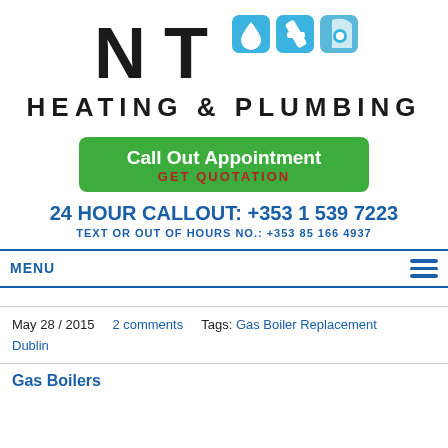[Figure (logo): NT Heating & Plumbing logo with NT letters in black and three blue icons (water drop, wrench, boiler)]
HEATING & PLUMBING
Call Out Appointment
GET QUOTATION
24 HOUR CALLOUT: +353 1 539 7223
TEXT OR OUT OF HOURS NO.: +353 85 166 4937
MENU
May 28 / 2015    2 comments    Tags: Gas Boiler Replacement Dublin
Gas Boilers